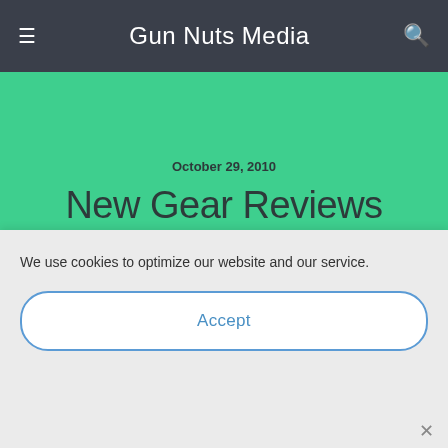Gun Nuts Media
October 29, 2010
New Gear Reviews Coming To Gun Nuts
Caleb
We use cookies to optimize our website and our service.
Accept